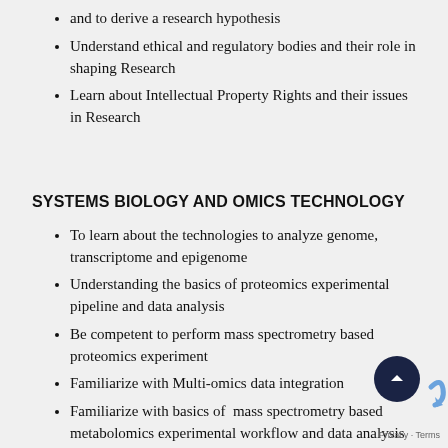and to derive a research hypothesis
Understand ethical and regulatory bodies and their role in shaping Research
Learn about Intellectual Property Rights and their issues in Research
SYSTEMS BIOLOGY AND OMICS TECHNOLOGY
To learn about the technologies to analyze genome, transcriptome and epigenome
Understanding the basics of proteomics experimental pipeline and data analysis
Be competent to perform mass spectrometry based proteomics experiment
Familiarize with Multi-omics data integration
Familiarize with basics of  mass spectrometry based metabolomics experimental workflow and data analysis